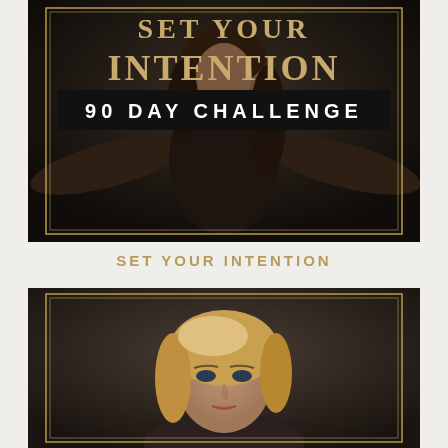[Figure (photo): Dark-themed promotional image featuring a woman in black with arms outstretched. Large gold serif text reads 'SET YOUR INTENTION' and a black banner reads '90 DAY CHALLENGE'. The image is framed with a thin gold border.]
SET YOUR INTENTION
[Figure (photo): Dark studio portrait of a woman with blonde hair, looking directly at the camera. Framed with a thin gold border on a dark background.]